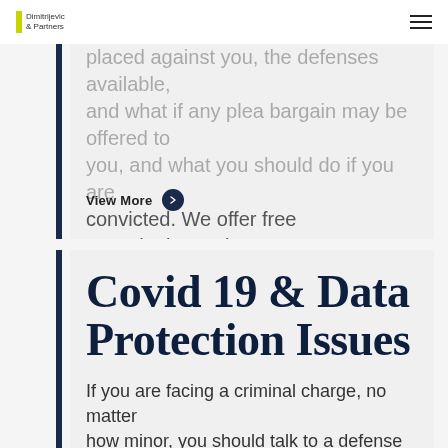Dimitrijevic & Partners
placed against you, the defenses available, and what if any plea bargain may be offered to you, and what you should do if you are convicted. We offer free consultations – just contact us....
View More
Covid 19 & Data Protection Issues
If you are facing a criminal charge, no matter how minor, you should talk to a defense attorney to fully understand your case. A